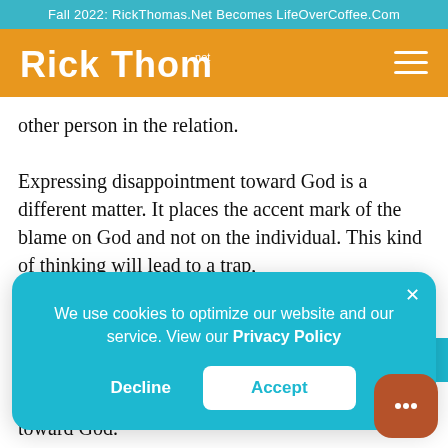Fall 2022: RickThomas.Net Becomes LifeOverCoffee.Com
[Figure (logo): Rick Thomas .net logo in white cursive script on orange background with hamburger menu icon]
other person in the relation.
Expressing disappointment toward God is a different matter. It places the accent mark of the blame on God and not on the individual. This kind of thinking will lead to a trap,
We use cookies to optimize our website and our service. View our Privacy Policy
Decline
Accept
toward God.